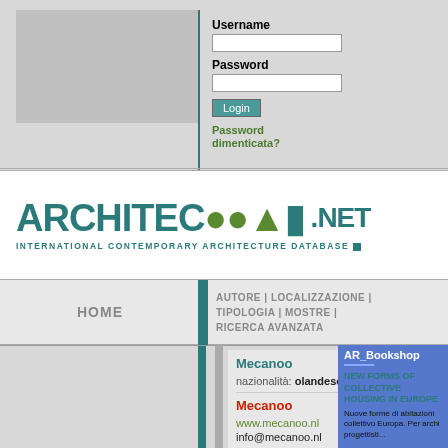Username
Password
Login
Password dimenticata?
[Figure (logo): Architectour.net logo with teal and olive green lettering. Text reads ARCHITECTOUR and .NET with subtitle INTERNATIONAL CONTEMPORARY ARCHITECTURE DATABASE]
HOME
AUTORE | LOCALIZZAZIONE | TIPOLOGIA | MOSTRE | RICERCA AVANZATA
[Figure (photo): Gray image placeholder for Mecanoo project photo]
Mecanoo
nazionalità: olandese
Mecanoo
www.mecanoo.nl
info@mecanoo.nl
AR_Bookshop
NEW FORMS OF COLLECTIVE HOUSING IN EUROPE
Nuove forme di abitazioni collettivo Europa. Per archi progettisti...